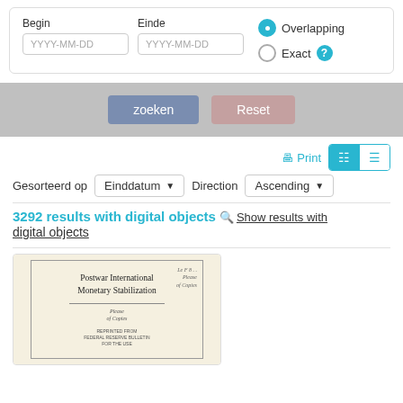[Figure (screenshot): Search form with Begin and Einde date fields (YYYY-MM-DD), Overlapping radio selected, Exact radio, and help icon]
[Figure (screenshot): Search bar with 'zoeken' and 'Reset' buttons on grey background]
[Figure (screenshot): Toolbar with Print link, grid/list view toggle buttons, sort controls: Gesorteerd op Einddatum Direction Ascending]
3292 results with digital objects
Show results with digital objects
[Figure (photo): Book cover for 'Postwar International Monetary Stabilization' with handwritten notes and stamp text]